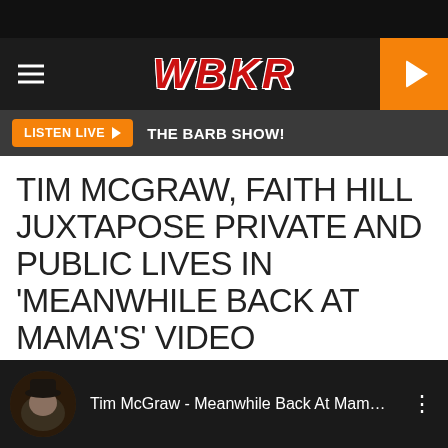WBKR | LISTEN LIVE ▶ THE BARB SHOW!
TIM MCGRAW, FAITH HILL JUXTAPOSE PRIVATE AND PUBLIC LIVES IN 'MEANWHILE BACK AT MAMA'S' VIDEO
Christina Vinson
Published: June 29, 2014
Tim McGraw - Meanwhile Back At Mam...